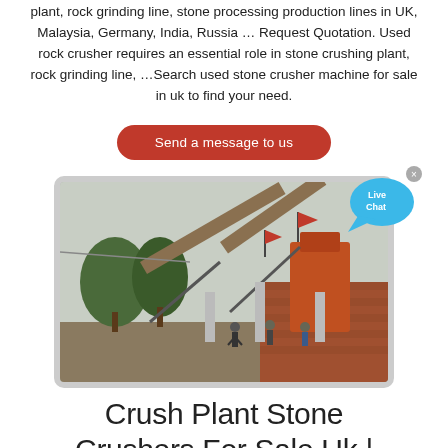plant, rock grinding line, stone processing production lines in UK, Malaysia, Germany, India, Russia … Request Quotation. Used rock crusher requires an essential role in stone crushing plant, rock grinding line, …Search used stone crusher machine for sale in uk to find your need.
[Figure (other): Red rounded button labeled 'Send a message to us']
[Figure (photo): Photograph of an industrial crush plant with orange conveyor belts and machinery, red flags on top, workers standing nearby, brick building and trees in background. Live Chat bubble overlay in top right corner.]
Crush Plant Stone Crushers For Sale Uk |